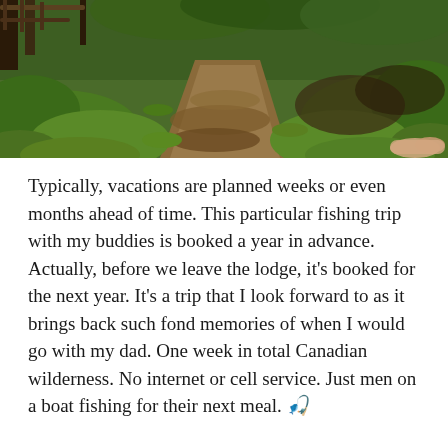[Figure (photo): A forest trail or path covered with fallen leaves, surrounded by lush green ferns and trees. A hand/finger is visible pointing into the scene from the right side.]
Typically, vacations are planned weeks or even months ahead of time. This particular fishing trip with my buddies is booked a year in advance. Actually, before we leave the lodge, it's booked for the next year. It's a trip that I look forward to as it brings back such fond memories of when I would go with my dad. One week in total Canadian wilderness. No internet or cell service. Just men on a boat fishing for their next meal. 🎣
This year, business has been non-stop, which I am incredibly grateful for. It also meant that I needed to have everything buttoned up before I go.